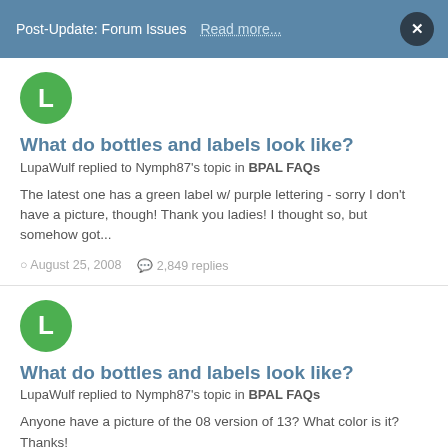Post-Update: Forum Issues  Read more...
What do bottles and labels look like?
LupaWulf replied to Nymph87's topic in BPAL FAQs
The latest one has a green label w/ purple lettering - sorry I don't have a picture, though! Thank you ladies! I thought so, but somehow got...
August 25, 2008   2,849 replies
What do bottles and labels look like?
LupaWulf replied to Nymph87's topic in BPAL FAQs
Anyone have a picture of the 08 version of 13? What color is it? Thanks!
August 22, 2008   2,849 replies